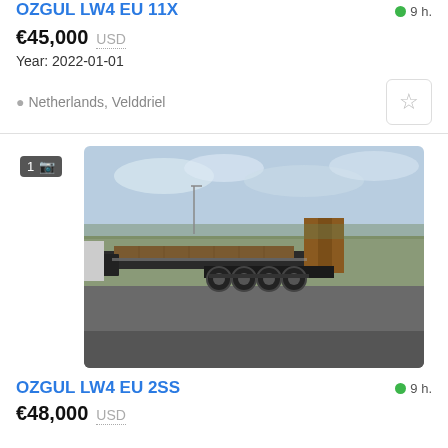OZGUL LW4 EU 11X
9 h.
€45,000  USD
Year: 2022-01-01
Netherlands, Velddriel
[Figure (photo): Low-bed semi-trailer (OZGUL LW4 EU 2SS) parked in an open area, side view showing flat bed and multiple axles with ramps at rear.]
OZGUL LW4 EU 2SS
9 h.
€48,000  USD